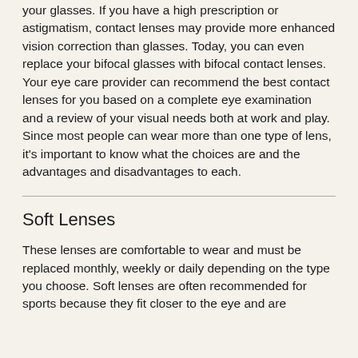your glasses. If you have a high prescription or astigmatism, contact lenses may provide more enhanced vision correction than glasses. Today, you can even replace your bifocal glasses with bifocal contact lenses. Your eye care provider can recommend the best contact lenses for you based on a complete eye examination and a review of your visual needs both at work and play. Since most people can wear more than one type of lens, it's important to know what the choices are and the advantages and disadvantages to each.
Soft Lenses
These lenses are comfortable to wear and must be replaced monthly, weekly or daily depending on the type you choose. Soft lenses are often recommended for sports because they fit closer to the eye and are